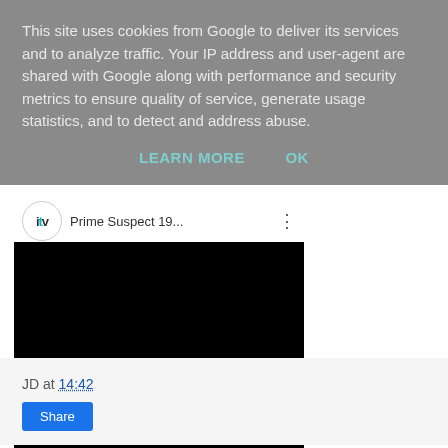This site uses cookies from Google to deliver its services and to analyze traffic. Your IP address and user-agent are shared with Google along with performance and security metrics to ensure quality of service, generate usage statistics, and to detect and address abuse.
LEARN MORE   OK
[Figure (screenshot): Embedded YouTube/ITV video player thumbnail showing ITV logo and title 'Prime Suspect 19...' with a black video area below]
JD at 14:42
Share